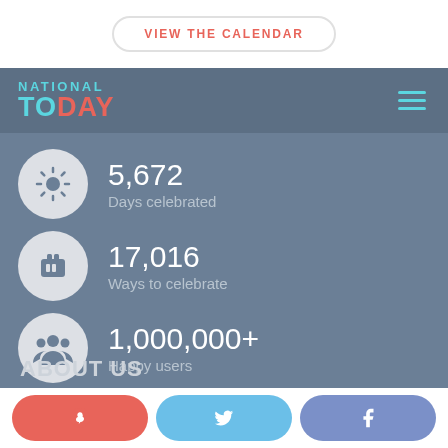VIEW THE CALENDAR
[Figure (logo): National Today logo with teal NATIONAL text and TODAY in teal/salmon colors]
5,672
Days celebrated
17,016
Ways to celebrate
1,000,000+
Happy users
ABOUT US
[Figure (infographic): Bottom social share bar with Pinterest, Twitter, and Facebook buttons]